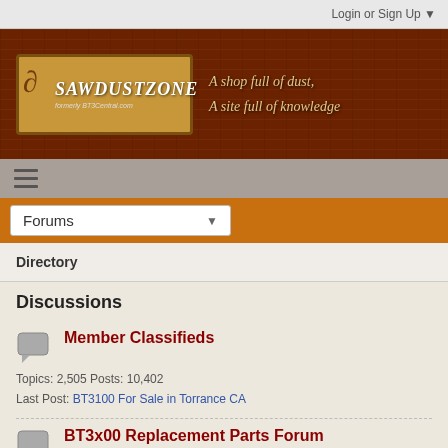Login or Sign Up ▼
[Figure (logo): SawDustZone logo on wood-textured dark brown banner with tagline: A shop full of dust, A site full of knowledge]
≡ (hamburger menu icon)
Forums ▼ (dropdown navigation)
Directory
Discussions
Member Classifieds
Topics: 2,505 Posts: 10,402
Last Post: BT3100 For Sale in Torrance CA
BT3x00 Replacement Parts Forum
Topics: 36 Posts: 225
Last Post: BT3KIT on Ryobi.com
Bargain Alerts